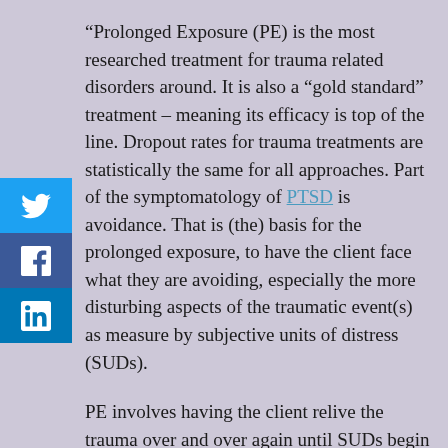“Prolonged Exposure (PE) is the most researched treatment for trauma related disorders around. It is also a “gold standard” treatment – meaning its efficacy is top of the line. Dropout rates for trauma treatments are statistically the same for all approaches. Part of the symptomatology of PTSD is avoidance. That is (the) basis for the prolonged exposure, to have the client face what they are avoiding, especially the more disturbing aspects of the traumatic event(s) as measure by subjective units of distress (SUDs).
PE involves having the client relive the trauma over and over again until SUDs begin to go down. Your homework would include listening